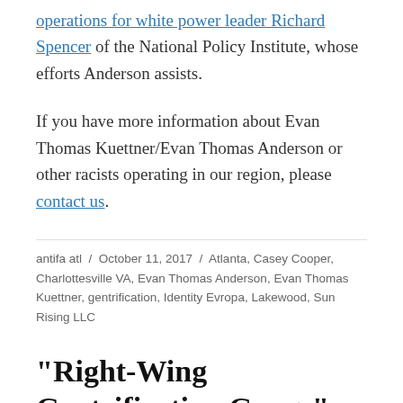operations for white power leader Richard Spencer of the National Policy Institute, whose efforts Anderson assists.
If you have more information about Evan Thomas Kuettner/Evan Thomas Anderson or other racists operating in our region, please contact us.
antifa atl / October 11, 2017 / Atlanta, Casey Cooper, Charlottesville VA, Evan Thomas Anderson, Evan Thomas Kuettner, gentrification, Identity Evropa, Lakewood, Sun Rising LLC
“Right-Wing Gentrification Gangs”: